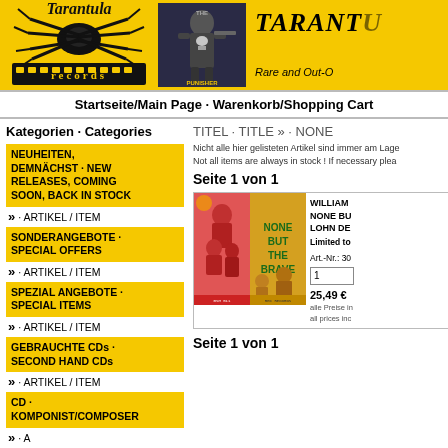[Figure (logo): Tarantula Records logo with spider graphic on yellow background]
[Figure (photo): The Punisher movie cover with man holding weapon on dark background]
[Figure (logo): TARANT... Rare and Out-... text logo on yellow background]
Startseite/Main Page · Warenkorb/Shopping Cart
TITEL · TITLE » · NONE
Nicht alle hier gelisteten Artikel sind immer am Lage... Not all items are always in stock ! If necessary plea...
Seite 1 von 1
Kategorien · Categories
NEUHEITEN, DEMNÄCHST · NEW RELEASES, COMING SOON, BACK IN STOCK
» · ARTIKEL / ITEM
SONDERANGEBOTE · SPECIAL OFFERS
» · ARTIKEL / ITEM
SPEZIAL ANGEBOTE · SPECIAL ITEMS
» · ARTIKEL / ITEM
GEBRAUCHTE CDs · SECOND HAND CDs
» · ARTIKEL / ITEM
CD · KOMPONIST/COMPOSER
» · A
» · ALESSANDRONI
[Figure (photo): None But The Brave movie soundtrack album cover with soldiers]
WILLIAM... NONE BU... LOHN DE... Limited to...
Art.-Nr.: 30...
1
25,49 € alle Preise in... all prices inc...
Seite 1 von 1